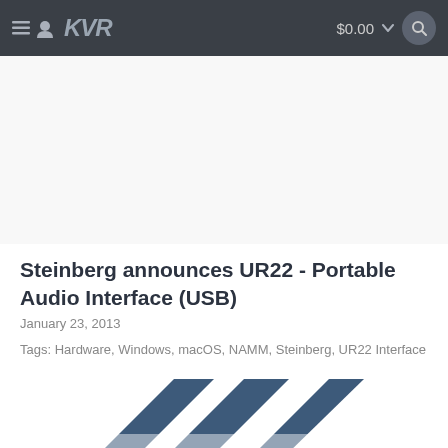KVR — $0.00
[Figure (other): Empty white/light gray placeholder area for advertisement or image]
Steinberg announces UR22 - Portable Audio Interface (USB)
January 23, 2013
Tags: Hardware, Windows, macOS, NAMM, Steinberg, UR22 Interface
[Figure (logo): Steinberg logo — partial view of overlapping dark blue parallelogram shapes forming the Steinberg 'W' logo mark]